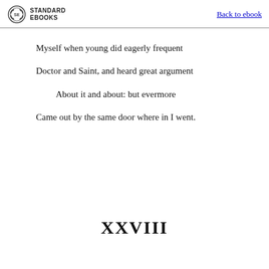STANDARD EBOOKS | Back to ebook
Myself when young did eagerly frequent
Doctor and Saint, and heard great argument
About it and about: but evermore
Came out by the same door where in I went.
XXVIII